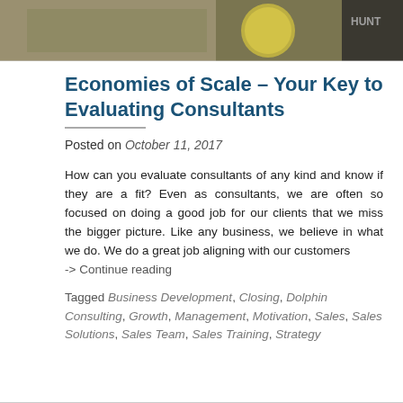[Figure (photo): Partial image of US dollar bills and coins, cropped at top of page with text 'HUNT' visible on right side]
Economies of Scale – Your Key to Evaluating Consultants
Posted on October 11, 2017
How can you evaluate consultants of any kind and know if they are a fit? Even as consultants, we are often so focused on doing a good job for our clients that we miss the bigger picture. Like any business, we believe in what we do. We do a great job aligning with our customers
-> Continue reading
Tagged Business Development, Closing, Dolphin Consulting, Growth, Management, Motivation, Sales, Sales Solutions, Sales Team, Sales Training, Strategy